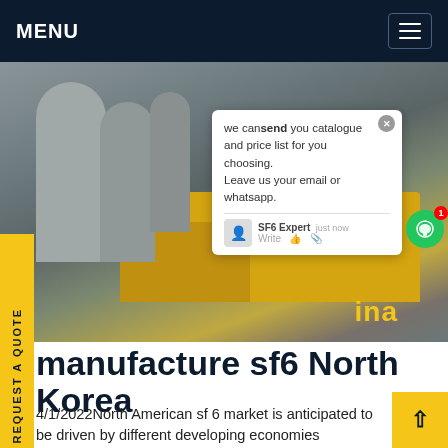MENU
[Figure (photo): Industrial site with yellow ISUZU truck and large grey cylindrical SF6 gas equipment, with a worker in blue overalls visible in background. A chat popup is overlaid on the image.]
we can send you catalogue and price list for you choosing. Leave us your email or whatsapp.
SF6 Expert   just now
Write
manufacture sf6 North Korea
4/1/2022North American sf 6 market is anticipated to be driven by different developing economies supported by a huge industrial presence, rising